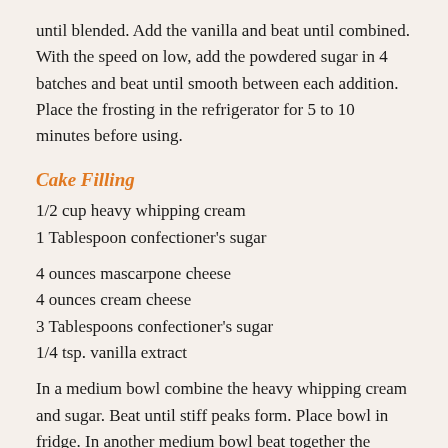until blended. Add the vanilla and beat until combined. With the speed on low, add the powdered sugar in 4 batches and beat until smooth between each addition. Place the frosting in the refrigerator for 5 to 10 minutes before using.
Cake Filling
1/2 cup heavy whipping cream
1 Tablespoon confectioner's sugar
4 ounces mascarpone cheese
4 ounces cream cheese
3 Tablespoons confectioner's sugar
1/4 tsp. vanilla extract
In a medium bowl combine the heavy whipping cream and sugar. Beat until stiff peaks form. Place bowl in fridge. In another medium bowl beat together the mascarpone cheese, cream cheese, sugar and vanilla. Fold whipped